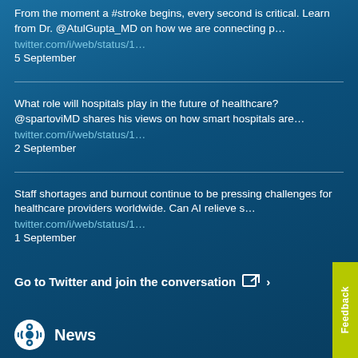From the moment a #stroke begins, every second is critical. Learn from Dr. @AtulGupta_MD on how we are connecting p…
twitter.com/i/web/status/1…
5 September
What role will hospitals play in the future of healthcare? @spartoviMD shares his views on how smart hospitals are…
twitter.com/i/web/status/1…
2 September
Staff shortages and burnout continue to be pressing challenges for healthcare providers worldwide. Can AI relieve s…
twitter.com/i/web/status/1…
1 September
Go to Twitter and join the conversation ›
News